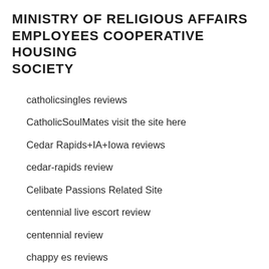MINISTRY OF RELIGIOUS AFFAIRS EMPLOYEES COOPERATIVE HOUSING SOCIETY
catholicsingles reviews
CatholicSoulMates visit the site here
Cedar Rapids+IA+Iowa reviews
cedar-rapids review
Celibate Passions Related Site
centennial live escort review
centennial review
chappy es reviews
chappy it reviews
chappy review